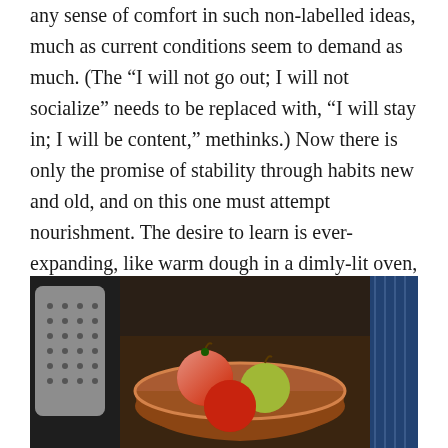any sense of comfort in such non-labelled ideas, much as current conditions seem to demand as much. (The “I will not go out; I will not socialize” needs to be replaced with, “I will stay in; I will be content,” methinks.) Now there is only the promise of stability through habits new and old, and on this one must attempt nourishment. The desire to learn is ever-expanding, like warm dough in a dimly-lit oven, eventually inching beyond the tidy rim of the bowl, into a whole new space of experience, familiar and yet not.
[Figure (photo): A wooden bowl filled with apples (red and green/yellow) on a dark surface, with a metal colander/strainer visible on the left side and a blue cloth on the right.]